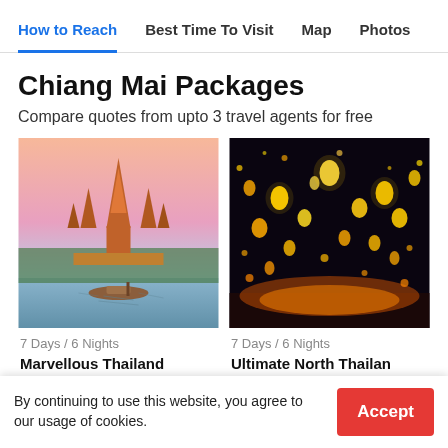How to Reach | Best Time To Visit | Map | Photos
Chiang Mai Packages
Compare quotes from upto 3 travel agents for free
[Figure (photo): Wat Arun temple in Bangkok at sunset with a boat on the river in the foreground]
7 Days / 6 Nights
Marvellous Thailand Package - Chiang Mai, Bangkok and
[Figure (photo): Sky lanterns floating at night during a festival in northern Thailand]
7 Days / 6 Nights
Ultimate North Thailand Package Tour: Chiang
By continuing to use this website, you agree to our usage of cookies.